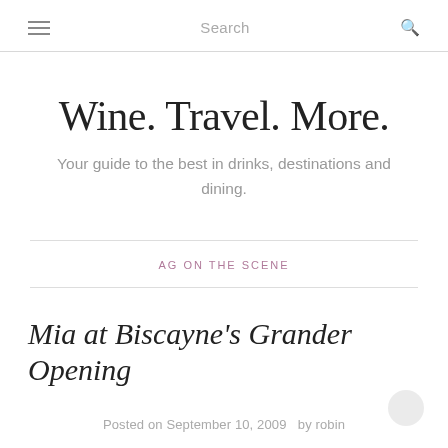≡   Search   🔍
Wine. Travel. More.
Your guide to the best in drinks, destinations and dining.
AG ON THE SCENE
Mia at Biscayne's Grander Opening
Posted on September 10, 2009   by robin